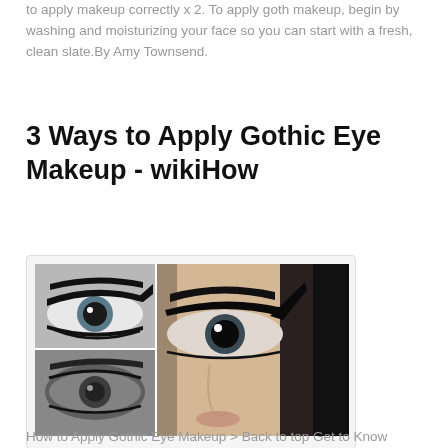to apply makeup correctly x 2. To apply goth makeup, begin by washing and moisturizing your face so you can start with a fresh, clean slate.By Amy Townsend.
3 Ways to Apply Gothic Eye Makeup - wikiHow
[Figure (photo): Composite image of gothic eye makeup tutorial showing close-up eye shots on the left side and a woman's face with dramatic black gothic eye makeup on the right side, with 'Tutorial' written vertically on the far right in white text on black background.]
How to Apply Gothic Eye Makeup > Back to top Get to Know